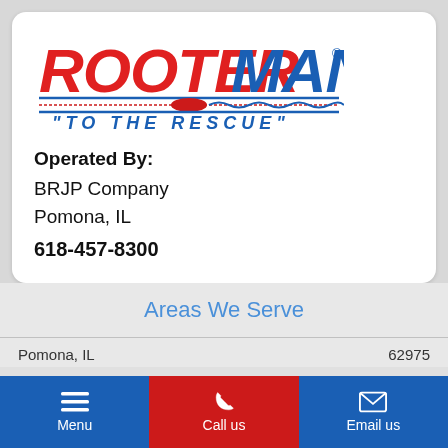[Figure (logo): Rooter Man logo with 'TO THE RESCUE' tagline]
Operated By:
BRJP Company
Pomona, IL
618-457-8300
Areas We Serve
Pomona, IL   62975
Menu   Call us   Email us